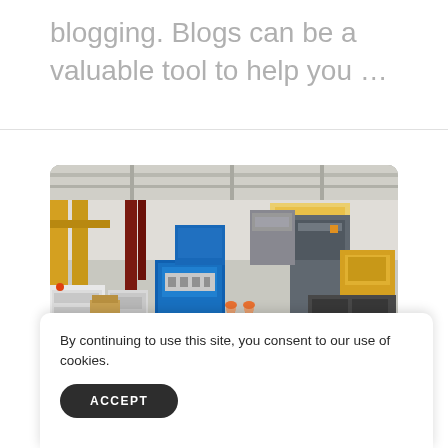blogging. Blogs can be a valuable tool to help you …
[Figure (photo): Interior of a large industrial manufacturing facility showing factory floor with heavy machinery, equipment, yellow floor markings, and two workers in orange safety vests and hard hats walking through the facility.]
By continuing to use this site, you consent to our use of cookies.
ACCEPT